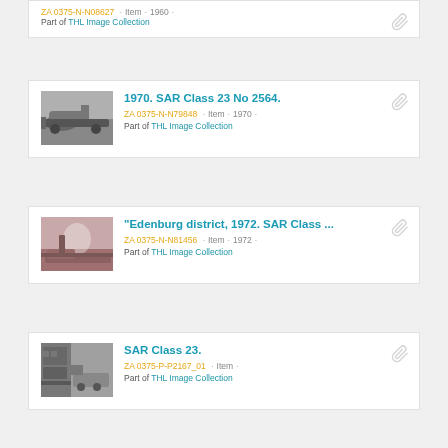ZA 0375-N-N08627 · Item · 1960 · Part of THL Image Collection
[Figure (photo): Black and white photo of a steam locomotive - SAR Class 23 No 2564]
1970. SAR Class 23 No 2564.
ZA 0375-N-N79848 · Item · 1970 · Part of THL Image Collection
[Figure (photo): Pinkish/sepia toned photo of a steam train in Edenburg district, 1972, SAR Class]
"Edenburg district, 1972. SAR Class ...
ZA 0375-N-N81456 · Item · 1972 · Part of THL Image Collection
[Figure (photo): Black and white photo of SAR Class 23 locomotive]
SAR Class 23.
ZA 0375-P-P2167_01 · Item · Part of THL Image Collection